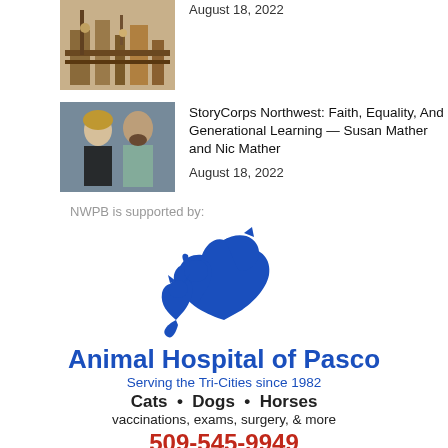[Figure (photo): Thumbnail photo of industrial/mechanical equipment]
August 18, 2022
[Figure (photo): Thumbnail photo of a woman and man standing together]
StoryCorps Northwest: Faith, Equality, And Generational Learning — Susan Mather and Nic Mather
August 18, 2022
NWPB is supported by:
[Figure (logo): Animal Hospital of Pasco logo — blue silhouettes of a horse, dog, and cat grouped together]
Animal Hospital of Pasco
Serving the Tri-Cities since 1982
Cats • Dogs • Horses
vaccinations, exams, surgery, & more
509-545-9949